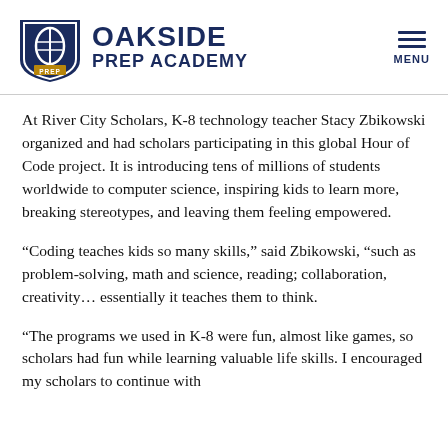[Figure (logo): Oakside Prep Academy shield logo with hamburger menu icon]
At River City Scholars, K-8 technology teacher Stacy Zbikowski organized and had scholars participating in this global Hour of Code project. It is introducing tens of millions of students worldwide to computer science, inspiring kids to learn more, breaking stereotypes, and leaving them feeling empowered.
“Coding teaches kids so many skills,” said Zbikowski, “such as problem-solving, math and science, reading; collaboration, creativity… essentially it teaches them to think.
“The programs we used in K-8 were fun, almost like games, so scholars had fun while learning valuable life skills. I encouraged my scholars to continue with